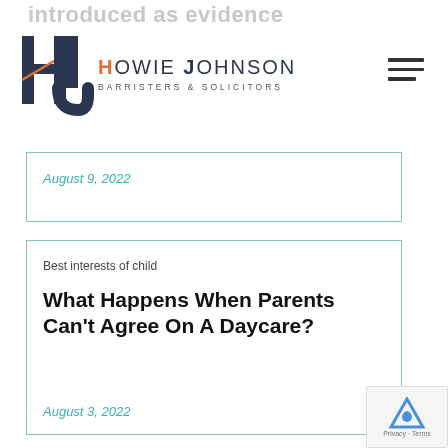introduced as evidence
[Figure (logo): Howie Johnson Barristers & Solicitors logo with HJ monogram icon]
August 9, 2022
Best interests of child
What Happens When Parents Can't Agree On A Daycare?
August 3, 2022